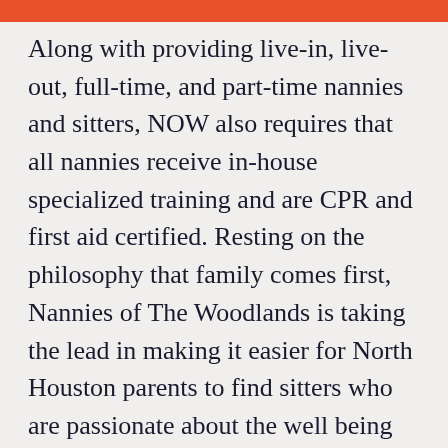Along with providing live-in, live-out, full-time, and part-time nannies and sitters, NOW also requires that all nannies receive in-house specialized training and are CPR and first aid certified. Resting on the philosophy that family comes first, Nannies of The Woodlands is taking the lead in making it easier for North Houston parents to find sitters who are passionate about the well being of children in our community and beyond. For more information on their services, head to www.nanniesofthewoodlands.com and check out what each of their outstanding candidates